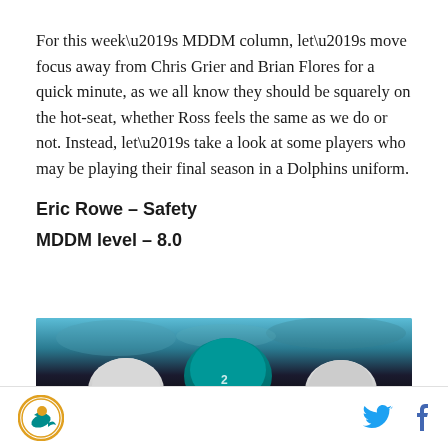For this week’s MDDM column, let’s move focus away from Chris Grier and Brian Flores for a quick minute, as we all know they should be squarely on the hot-seat, whether Ross feels the same as we do or not. Instead, let’s take a look at some players who may be playing their final season in a Dolphins uniform.
Eric Rowe – Safety
MDDM level – 8.0
[Figure (photo): Photo of Miami Dolphins players in helmets on the field, teal and white uniforms visible]
Miami Dolphins logo, Twitter icon, Facebook icon